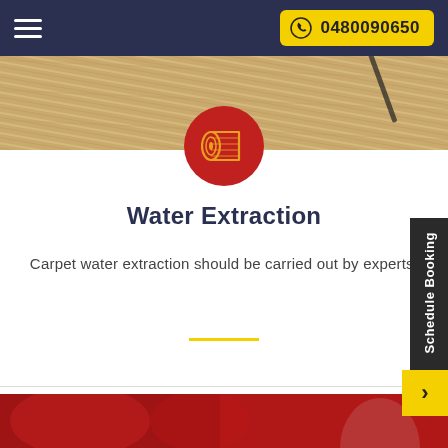0480090650
[Figure (photo): Close-up of carpet being rolled or cleaned, beige/tan color visible at top of page]
[Figure (illustration): Red circle with yellow carpet roll icon in center]
Water Extraction
Carpet water extraction should be carried out by experts.
[Figure (photo): Red background section at bottom of page, partial image visible]